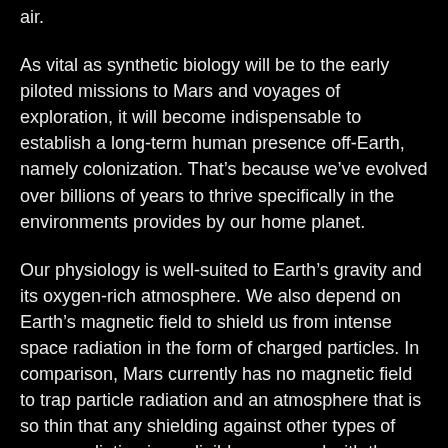air.
As vital as synthetic biology will be to the early piloted missions to Mars and voyages of exploration, it will become indispensable to establish a long-term human presence off-Earth, namely colonization. That’s because we’ve evolved over billions of years to thrive specifically in the environments provides by our home planet.
Our physiology is well-suited to Earth’s gravity and its oxygen-rich atmosphere. We also depend on Earth’s magnetic field to shield us from intense space radiation in the form of charged particles. In comparison, Mars currently has no magnetic field to trap particle radiation and an atmosphere that is so thin that any shielding against other types of space radiation is negligible compared with the protection that Earth’s atmosphere affords. At the Martian surface, atmospheric pressure never gets above 7 millibars. That’s like Earth at an altitude of about 27,000 m (89,000 ft), which is almost the edge of